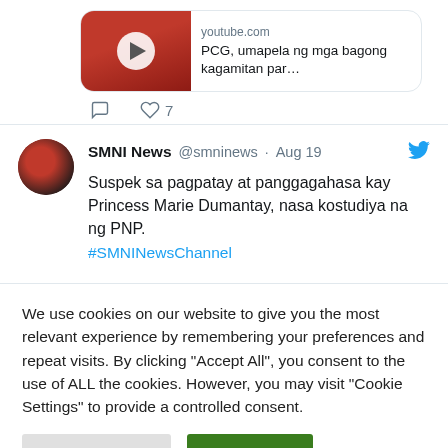[Figure (screenshot): YouTube video thumbnail card showing PCG video with play button, domain youtube.com, title 'PCG, umapela ng mga bagong kagamitan par...']
[Figure (screenshot): Tweet action icons: comment and heart (like with count 7)]
SMNI News @smninews · Aug 19 — Suspek sa pagpatay at panggagahasa kay Princess Marie Dumantay, nasa kostudiya na ng PNP. #SMNINewsChannel
We use cookies on our website to give you the most relevant experience by remembering your preferences and repeat visits. By clicking "Accept All", you consent to the use of ALL the cookies. However, you may visit "Cookie Settings" to provide a controlled consent.